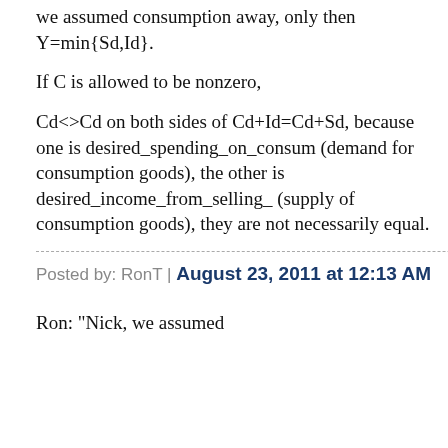we assumed consumption away, only then Y=min{Sd,Id}.
If C is allowed to be nonzero,
Cd<>Cd on both sides of Cd+Id=Cd+Sd, because one is desired_spending_on_consum (demand for consumption goods), the other is desired_income_from_selling_ (supply of consumption goods), they are not necessarily equal.
Posted by: RonT | August 23, 2011 at 12:13 AM
Ron: "Nick, we assumed